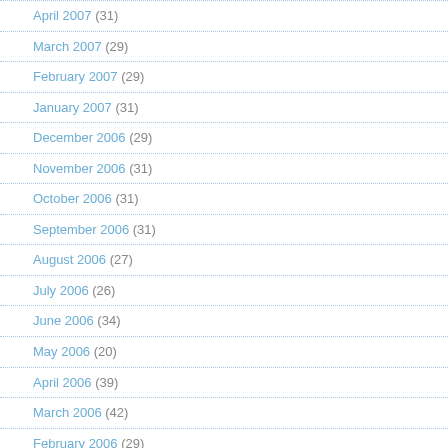April 2007 (31)
March 2007 (29)
February 2007 (29)
January 2007 (31)
December 2006 (29)
November 2006 (31)
October 2006 (31)
September 2006 (31)
August 2006 (27)
July 2006 (26)
June 2006 (34)
May 2006 (20)
April 2006 (39)
March 2006 (42)
February 2006 (29)
January 2006 (53)
December 2005 (52)
November 2005 (73)
October 2005 (44)
September 2005 (35)